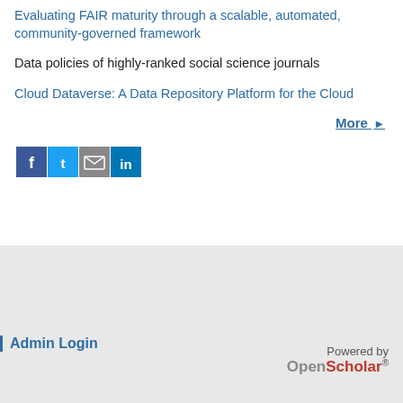Evaluating FAIR maturity through a scalable, automated, community-governed framework
Data policies of highly-ranked social science journals
Cloud Dataverse: A Data Repository Platform for the Cloud
More ▶
[Figure (other): Social media sharing icons: Facebook, Twitter, Email, LinkedIn]
Admin Login
Powered by OpenScholar®